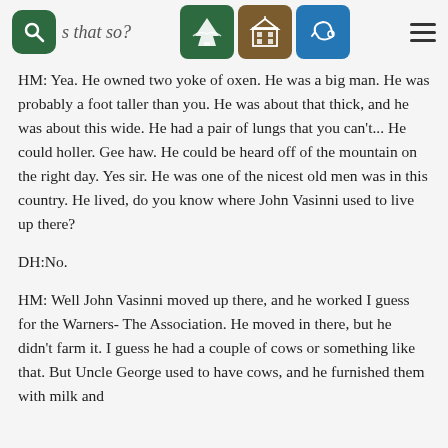is that so? [navigation icons]
HM: Yea. He owned two yoke of oxen. He was a big man. He was probably a foot taller than you. He was about that thick, and he was about this wide. He had a pair of lungs that you can't... He could holler. Gee haw. He could be heard off of the mountain on the right day. Yes sir. He was one of the nicest old men was in this country. He lived, do you know where John Vasinni used to live up there?
DH:No.
HM: Well John Vasinni moved up there, and he worked I guess for the Warners- The Association. He moved in there, but he didn't farm it. I guess he had a couple of cows or something like that. But Uncle George used to have cows, and he furnished them with milk and